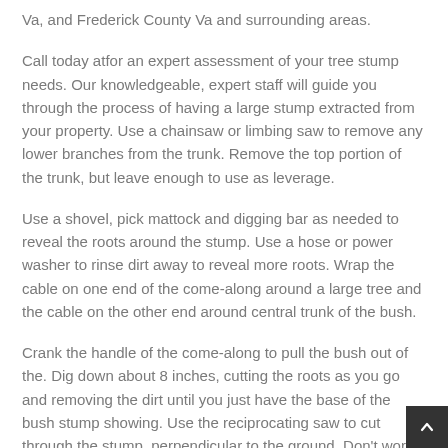Va, and Frederick County Va and surrounding areas.
Call today atfor an expert assessment of your tree stump needs. Our knowledgeable, expert staff will guide you through the process of having a large stump extracted from your property. Use a chainsaw or limbing saw to remove any lower branches from the trunk. Remove the top portion of the trunk, but leave enough to use as leverage.
Use a shovel, pick mattock and digging bar as needed to reveal the roots around the stump. Use a hose or power washer to rinse dirt away to reveal more roots. Wrap the cable on one end of the come-along around a large tree and the cable on the other end around central trunk of the bush.
Crank the handle of the come-along to pull the bush out of the. Dig down about 8 inches, cutting the roots as you go and removing the dirt until you just have the base of the bush stump showing. Use the reciprocating saw to cut through the stump, perpendicular to the ground. Don't worry about getting a straight cut, since it will be buried.